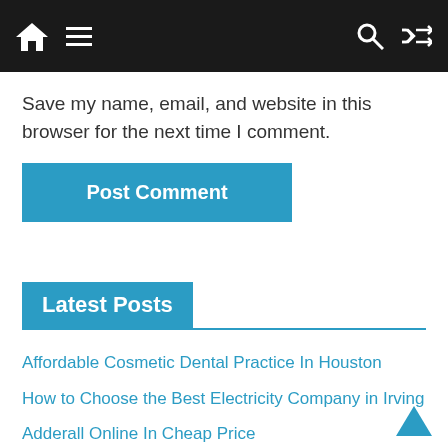Navigation bar with home, menu, search, and shuffle icons
Save my name, email, and website in this browser for the next time I comment.
Post Comment
Latest Posts
Affordable Cosmetic Dental Practice In Houston
How to Choose the Best Electricity Company in Irving
Adderall Online In Cheap Price
Umrah Packages in 2023 From the UK
How To Style Sky Blue And Light Blue Braces For A Chic Look